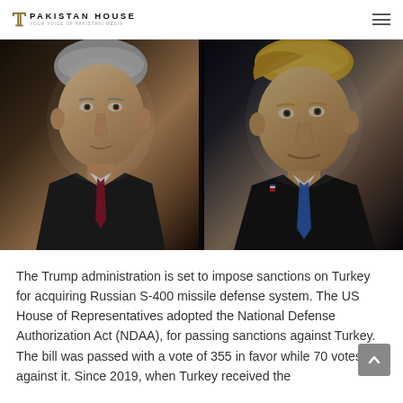PAKISTAN HOUSE
[Figure (photo): Side-by-side photos of Vladimir Putin (left, wearing dark suit and burgundy tie) and Donald Trump (right, wearing dark suit and blue tie) against dark backgrounds]
The Trump administration is set to impose sanctions on Turkey for acquiring Russian S-400 missile defense system. The US House of Representatives adopted the National Defense Authorization Act (NDAA), for passing sanctions against Turkey. The bill was passed with a vote of 355 in favor while 70 votes against it. Since 2019, when Turkey received the